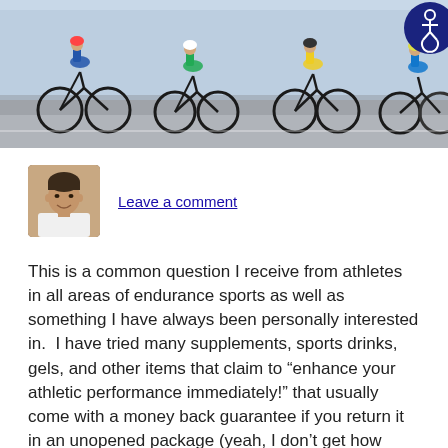[Figure (photo): A group of cyclists in a road race, photographed from low angle showing bicycles, wheels, and riders in colorful jerseys on a paved road.]
[Figure (photo): Headshot of a man in a white shirt smiling, appears to be a professional profile photo.]
Leave a comment
This is a common question I receive from athletes in all areas of endurance sports as well as something I have always been personally interested in.  I have tried many supplements, sports drinks, gels, and other items that claim to “enhance your athletic performance immediately!” that usually come with a money back guarantee if you return it in an unopened package (yeah, I don’t get how you’re supposed to gauge it’s